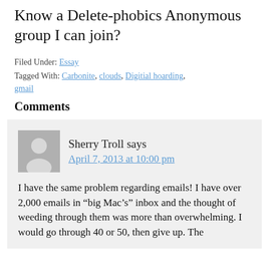Know a Delete-phobics Anonymous group I can join?
Filed Under: Essay
Tagged With: Carbonite, clouds, Digitial hoarding, gmail
Comments
Sherry Troll says
April 7, 2013 at 10:00 pm

I have the same problem regarding emails! I have over 2,000 emails in “big Mac’s” inbox and the thought of weeding through them was more than overwhelming. I would go through 40 or 50, then give up. The